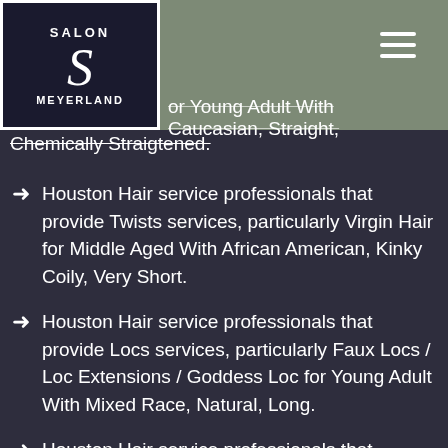Salon Meyerland
or Young Adult With Caucasian, Straight, Chemically Straigtened.
Houston Hair service professionals that provide Twists services, particularly Virgin Hair for Middle Aged With African American, Kinky Coily, Very Short.
Houston Hair service professionals that provide Locs services, particularly Faux Locs / Loc Extensions / Goddess Loc for Young Adult With Mixed Race, Natural, Long.
Houston Hair service professionals that provide Extensions / Sew In / Weave services, particularly Quick Weave for Middle Aged With African American, Kinky Coily, Natural, Long.